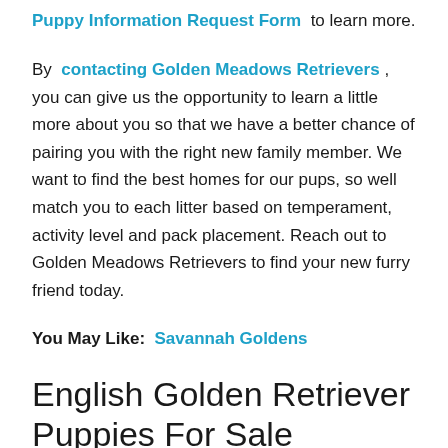Puppy Information Request Form  to learn more.
By  contacting Golden Meadows Retrievers , you can give us the opportunity to learn a little more about you so that we have a better chance of pairing you with the right new family member. We want to find the best homes for our pups, so well match you to each litter based on temperament, activity level and pack placement. Reach out to Golden Meadows Retrievers to find your new furry friend today.
You May Like:  Savannah Goldens
English Golden Retriever Puppies For Sale
These reputable Golden Retriever breeders offer the